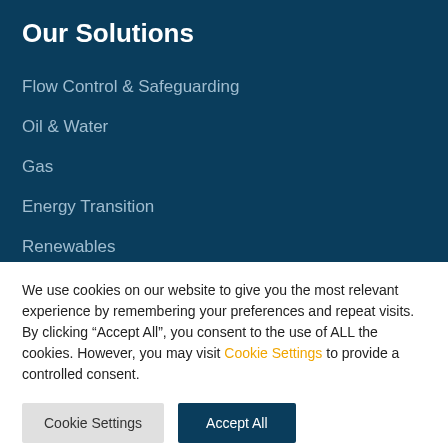Our Solutions
Flow Control & Safeguarding
Oil & Water
Gas
Energy Transition
Renewables
We use cookies on our website to give you the most relevant experience by remembering your preferences and repeat visits. By clicking “Accept All”, you consent to the use of ALL the cookies. However, you may visit Cookie Settings to provide a controlled consent.
Cookie Settings | Accept All